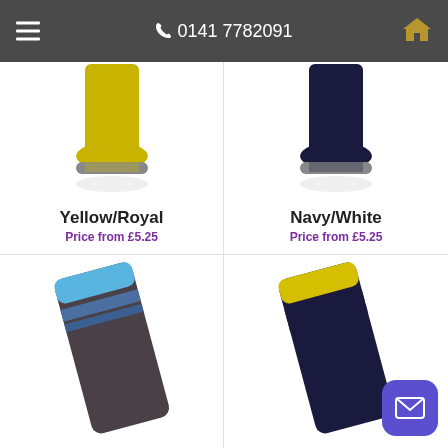☰  📞 0141 7782091  🏠
[Figure (photo): Yellow/Royal football socks with grip sole, shown on a leg with reflection below]
Yellow/Royal
Price from £5.25
[Figure (photo): Navy/White football socks with grip sole, shown on a leg with reflection below]
Navy/White
Price from £5.25
[Figure (photo): Blue and dark grey striped football socks, partially visible]
[Figure (photo): Yellow and dark navy striped football socks, partially visible]